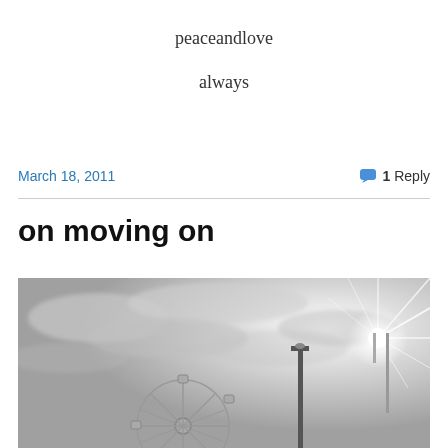peaceandlove
always
March 18, 2011
1 Reply
on moving on
[Figure (photo): Black and white photograph showing a fairground scene with a Ferris wheel and a bright starburst light effect against a dramatic cloudy sky]